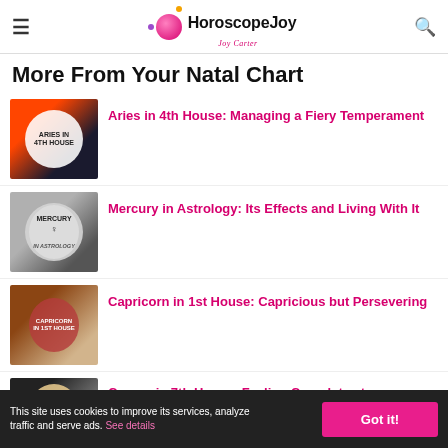HoroscopeJoy — navigation header with hamburger menu, logo, and search icon
More From Your Natal Chart
[Figure (photo): Thumbnail image for Aries in 4th House article showing colorful circle badge on dark background]
Aries in 4th House: Managing a Fiery Temperament
[Figure (photo): Thumbnail image for Mercury in Astrology article showing Mercury symbol badge on grey background]
Mercury in Astrology: Its Effects and Living With It
[Figure (photo): Thumbnail image for Capricorn in 1st House article showing red circle badge on brown wooden background]
Capricorn in 1st House: Capricious but Persevering
[Figure (photo): Thumbnail image for Cancer in 7th House article showing badge on dark striped background]
Cancer in 7th House: Feeling Complete at
This site uses cookies to improve its services, analyze traffic and serve ads. See details   Got it!